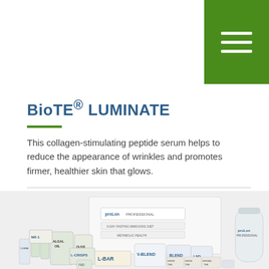[Figure (other): Green hamburger menu button in top-right corner]
BioTE® LUMINATE
This collagen-stimulating peptide serum helps to reduce the appearance of wrinkles and promotes firmer, healthier skin that glows.
[Figure (photo): ProLon Professional 5-Day Fasting Mimicking Diet Metabolic Health product kit showing multiple product boxes and packets including Algal Oil, L-Crisps, V-Blend, L-Bar, Herbal Tea, and a ProLon Professional water bottle]